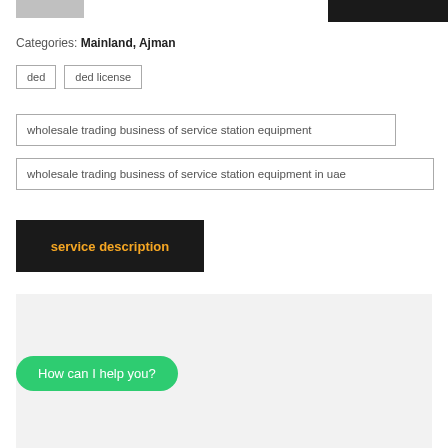[logo left] [nav right]
Categories: Mainland, Ajman
ded
ded license
wholesale trading business of service station equipment
wholesale trading business of service station equipment in uae
service description
Wholesale Trading Business